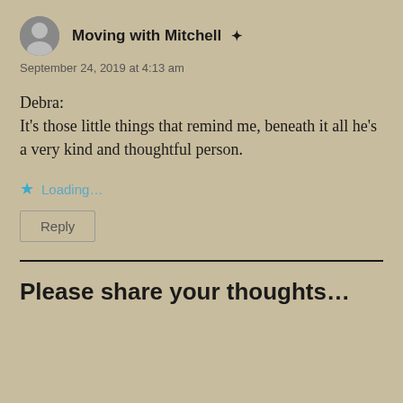Moving with Mitchell ✦
September 24, 2019 at 4:13 am
Debra:
It's those little things that remind me, beneath it all he's a very kind and thoughtful person.
★ Loading...
Reply
Please share your thoughts…